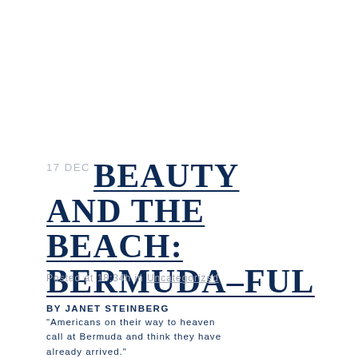17 DEC BEAUTY AND THE BEACH: BERMUDA–FUL
Posted at 18:34h in Uncategorized
BY JANET STEINBERG
"Americans on their way to heaven call at Bermuda and think they have already arrived."